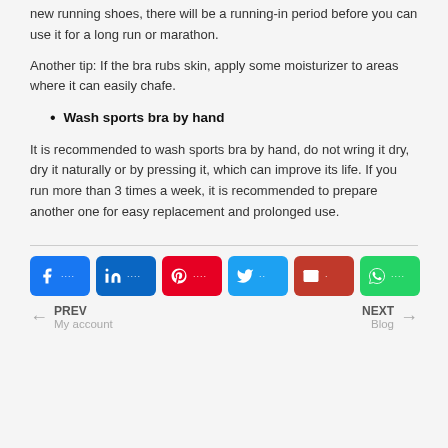new running shoes, there will be a running-in period before you can use it for a long run or marathon.
Another tip: If the bra rubs skin, apply some moisturizer to areas where it can easily chafe.
Wash sports bra by hand
It is recommended to wash sports bra by hand, do not wring it dry, dry it naturally or by pressing it, which can improve its life. If you run more than 3 times a week, it is recommended to prepare another one for easy replacement and prolonged use.
[Figure (infographic): Social share buttons: Facebook, LinkedIn, Pinterest, Twitter, Email, WhatsApp]
PREV My account | NEXT Blog